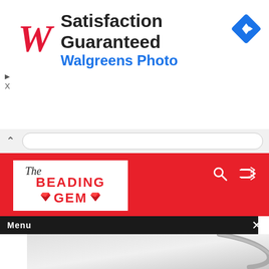[Figure (screenshot): Walgreens Photo advertisement banner with red cursive W logo, 'Satisfaction Guaranteed' headline, 'Walgreens Photo' subtitle in blue, and blue navigation diamond icon on the right]
[Figure (logo): The Beading Gem website logo — white box on red header bar with red text 'The Beading Gem' and diamond icons]
Menu
[Figure (photo): Close-up photo of a silver wire jewelry piece — a looped metal wire bangle or bracelet with a small bead or clasp, on a light gray background. Text overlay reads 'BEADING GEM DESIGN']